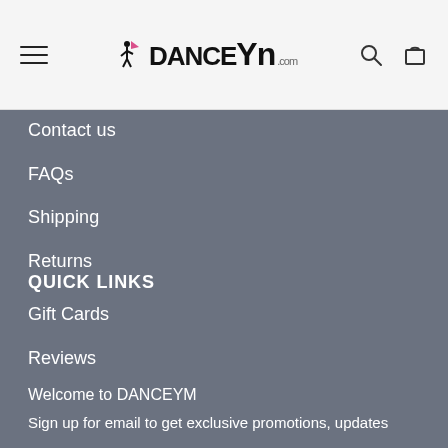DanceYm.com navigation header with hamburger menu, logo, search and cart icons
Contact us
FAQs
Shipping
Returns
QUICK LINKS
Gift Cards
Reviews
Welcome to DANCEYM
Sign up for email to get exclusive promotions, updates